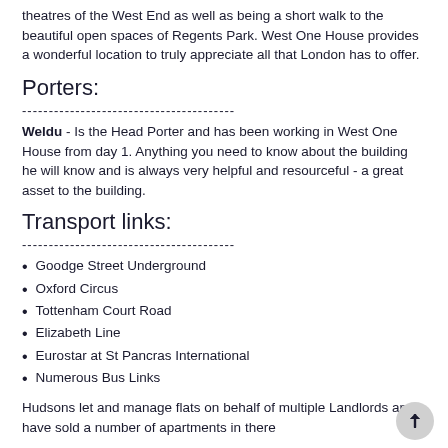theatres of the West End as well as being a short walk to the beautiful open spaces of Regents Park. West One House provides a wonderful location to truly appreciate all that London has to offer.
Porters:
----------------------------------------
Weldu - Is the Head Porter and has been working in West One House from day 1. Anything you need to know about the building he will know and is always very helpful and resourceful - a great asset to the building.
Transport links:
----------------------------------------
Goodge Street Underground
Oxford Circus
Tottenham Court Road
Elizabeth Line
Eurostar at St Pancras International
Numerous Bus Links
Hudsons let and manage flats on behalf of multiple Landlords and have sold a number of apartments in there